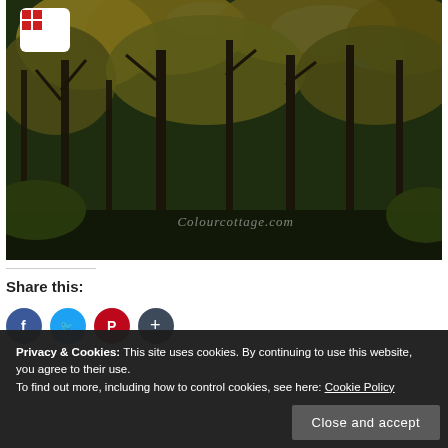[Figure (photo): Forest photo showing tall trees with autumn foliage, dark green and brown tones, with a watermark reading 'Colourcottage.com'. A white grid/menu icon button is in the top-left corner.]
Share this:
[Figure (infographic): Four social media share buttons: Facebook (blue circle), Twitter (light blue circle), Pinterest (red circle), and another (dark circle with plus icon), partially visible at bottom.]
Privacy & Cookies: This site uses cookies. By continuing to use this website, you agree to their use.
To find out more, including how to control cookies, see here: Cookie Policy
Close and accept